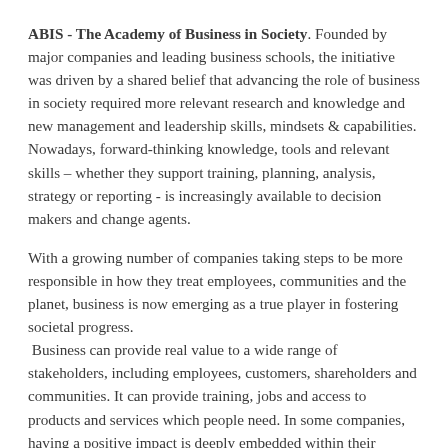ABIS - The Academy of Business in Society. Founded by major companies and leading business schools, the initiative was driven by a shared belief that advancing the role of business in society required more relevant research and knowledge and new management and leadership skills, mindsets & capabilities. Nowadays, forward-thinking knowledge, tools and relevant skills – whether they support training, planning, analysis, strategy or reporting - is increasingly available to decision makers and change agents.
With a growing number of companies taking steps to be more responsible in how they treat employees, communities and the planet, business is now emerging as a true player in fostering societal progress. Business can provide real value to a wide range of stakeholders, including employees, customers, shareholders and communities. It can provide training, jobs and access to products and services which people need. In some companies, having a positive impact is deeply embedded within their purpose and business